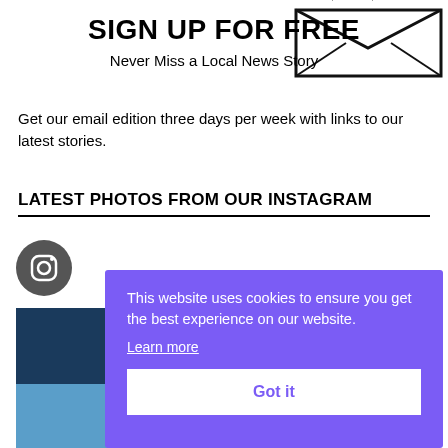[Figure (illustration): Envelope/email newsletter signup graphic with small logo text at top]
SIGN UP FOR FREE
Never Miss a Local News Story
Get our email edition three days per week with links to our latest stories.
LATEST PHOTOS FROM OUR INSTAGRAM
[Figure (illustration): Instagram icon circle (dark grey) and dark navy blue block with a photo partially visible below]
[Figure (other): Cookie consent overlay banner (purple background) with text: 'This website uses cookies to ensure you get the best experience on our website.' with 'Learn more' link and 'Got it' button]